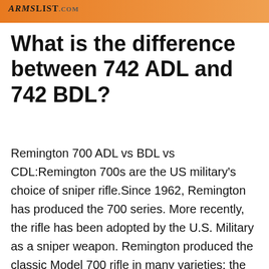ARMSLIST.com
What is the difference between 742 ADL and 742 BDL?
Remington 700 ADL vs BDL vs CDL:Remington 700s are the US military's choice of sniper rifle.Since 1962, Remington has produced the 700 series. More recently, the rifle has been adopted by the U.S. Military as a sniper weapon. Remington produced the classic Model 700 rifle in many varieties: the ADL, BDL, and CDL being 3 of them.BDL vs ADL:You may be wondering what you receive for paying two hundred dollars more for the BDL. BDLs are in current production. ADLs have now been discontinued. Although quite